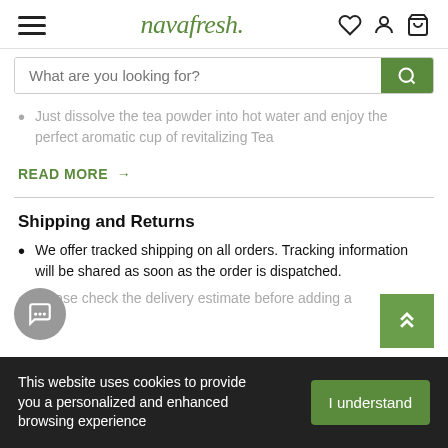navafresh.
Just dissolve the tea powder into hot water and enjoy the perfect aromatic cup of revitalizing Tea
READ MORE →
Shipping and Returns
We offer tracked shipping on all orders. Tracking information will be shared as soon as the order is dispatched.
Please check the delivery estimate before adding a
This website uses cookies to provide you a personalized and enhanced browsing experience
I understand